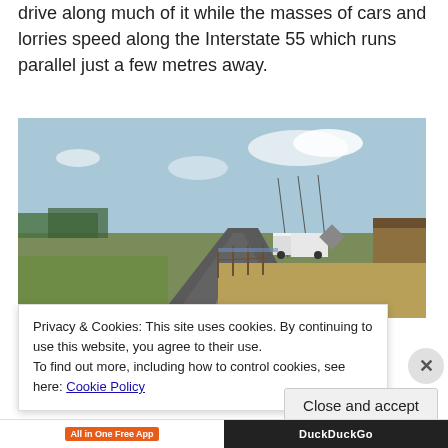drive along much of it while the masses of cars and lorries speed along the Interstate 55 which runs parallel just a few metres away.
[Figure (photo): A rural two-lane road stretching into the distance with flat grassland on either side. A semi-truck and road signs are visible on the right side, with Interstate 55 running parallel. Overcast sky with some clouds.]
Privacy & Cookies: This site uses cookies. By continuing to use this website, you agree to their use.
To find out more, including how to control cookies, see here: Cookie Policy
Close and accept
All in One Free App   DuckDuckGo